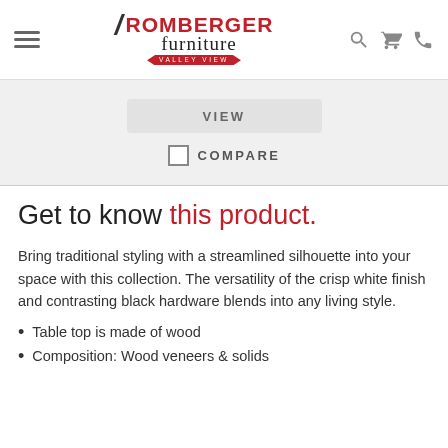Romberger Furniture Valley View
[Figure (screenshot): Partial product card showing VIEW button and COMPARE checkbox on grey background]
Get to know this product.
Bring traditional styling with a streamlined silhouette into your space with this collection. The versatility of the crisp white finish and contrasting black hardware blends into any living style.
Table top is made of wood
Composition: Wood veneers & solids